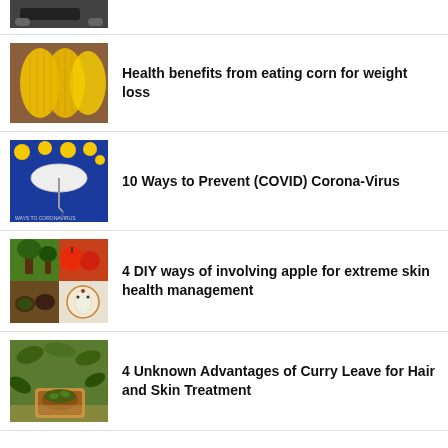[Figure (photo): Partial view of a car interior thumbnail at top]
[Figure (photo): Corn ears close-up photo]
Health benefits from eating corn for weight loss
[Figure (photo): Blue background with umbrella and yellow flowers, COVID prevention image]
10 Ways to Prevent (COVID) Corona-Virus
[Figure (photo): Collage of apple trees and apples]
4 DIY ways of involving apple for extreme skin health management
[Figure (photo): Curry leaves and natural ingredients photo]
4 Unknown Advantages of Curry Leave for Hair and Skin Treatment